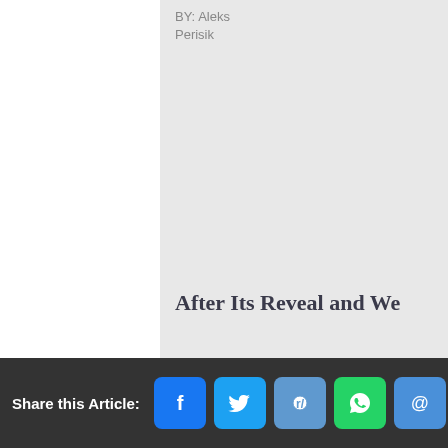BY: Aleks Perisik
[Figure (photo): Large image placeholder area with light gray background]
After Its Reveal and We
Share this Article: [Facebook] [Twitter] [Reddit] [WhatsApp] [Email]